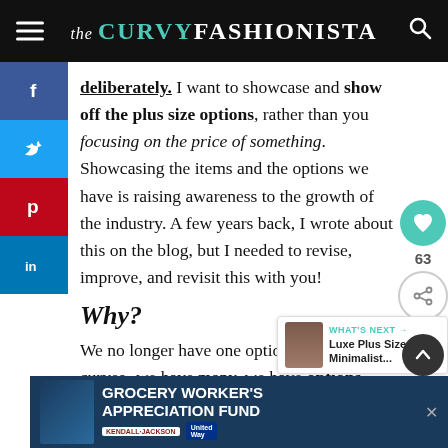the CURVY FASHIONISTA
deliberately. I want to showcase and show off the plus size options, rather than you focusing on the price of something. Showcasing the items and the options we have is raising awareness to the growth of the industry. A few years back, I wrote about this on the blog, but I needed to revise, improve, and revisit this with you!
Why?
We no longer have one option to dress our curves- we have many, we have options. However, to understand and sort through the madness of them, a budding Fashionista must first understand what these to ne...
[Figure (other): Advertisement banner: Grocery Worker's Appreciation Fund with Kendall-Jackson and United Way logos]
[Figure (other): What's Next popup: Luxe Plus Size Minimalist...]